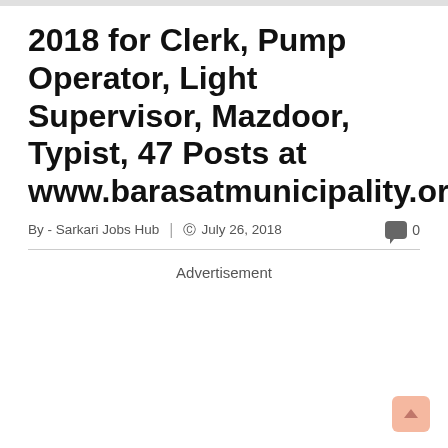2018 for Clerk, Pump Operator, Light Supervisor, Mazdoor, Typist, 47 Posts at www.barasatmunicipality.org
By - Sarkari Jobs Hub | July 26, 2018  0
Advertisement